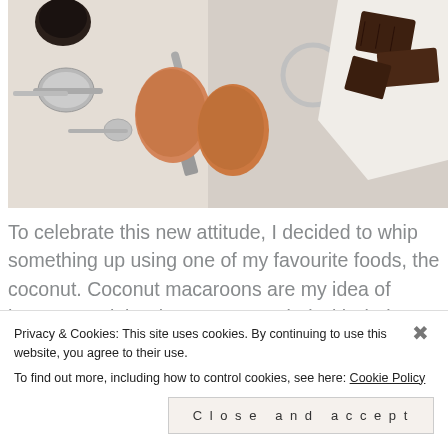[Figure (photo): Overhead flat-lay photo of baking ingredients on a light surface: two brown eggs, metallic measuring spoons, a metal spatula/scraper tool, and pieces of dark chocolate on white paper in the top right corner.]
To celebrate this new attitude, I decided to whip something up using one of my favourite foods, the coconut. Coconut macaroons are my idea of heaven, mainly when accompanied with dark chocolate, rendering them quite the treat for Paremptive Table…
Privacy & Cookies: This site uses cookies. By continuing to use this website, you agree to their use.
To find out more, including how to control cookies, see here: Cookie Policy
Close and accept